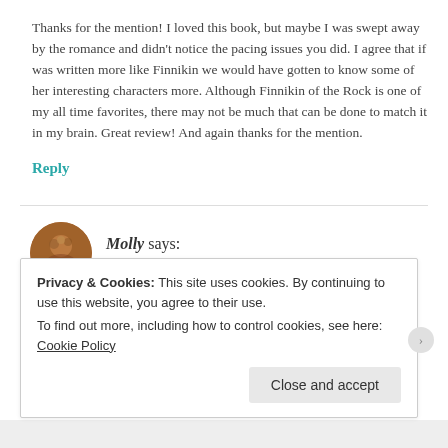Thanks for the mention! I loved this book, but maybe I was swept away by the romance and didn't notice the pacing issues you did. I agree that if was written more like Finnikin we would have gotten to know some of her interesting characters more. Although Finnikin of the Rock is one of my all time favorites, there may not be much that can be done to match it in my brain. Great review! And again thanks for the mention.
Reply
Molly says:
January 22, 2012 at 10:21 am
Privacy & Cookies: This site uses cookies. By continuing to use this website, you agree to their use.
To find out more, including how to control cookies, see here: Cookie Policy
Close and accept